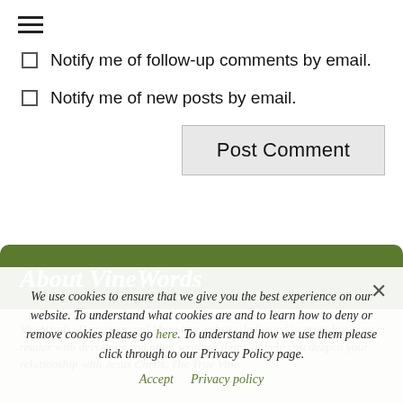[Figure (other): Hamburger menu icon (three horizontal lines)]
Notify me of follow-up comments by email.
Notify me of new posts by email.
Post Comment
About VineWords
VineWords: Devotions and More is a website dedicated to providing your reader with devotions and other writings that will help you deepen your relationship with Jesus Christ, The True Vine.
We use cookies to ensure that we give you the best experience on our website. To understand what cookies are and to learn how to deny or remove cookies please go here. To understand how we use them please click through to our Privacy Policy page.
Accept   Privacy policy